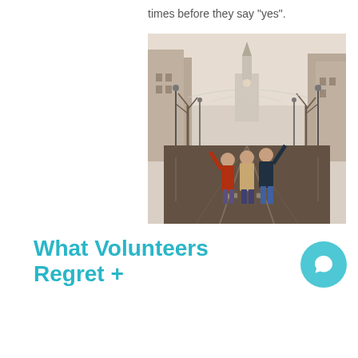times before they say "yes".
[Figure (photo): Three young women posing and celebrating on a wide wet cobblestone street in a European city, trees and historic buildings visible on both sides, overcast rainy day, a church or cathedral visible in the background.]
What Volunteers Regret +